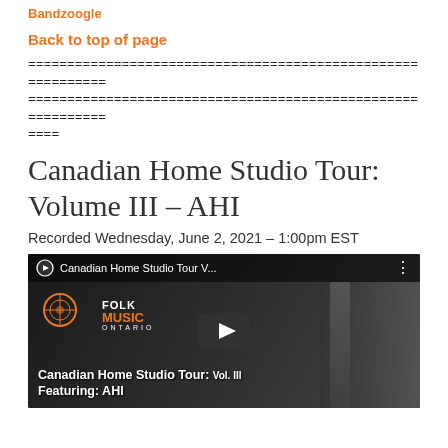Bandzoogle
Back to top of page
============================================================ ============================================================ ====
Canadian Home Studio Tour: Volume III – AHI
Recorded Wednesday, June 2, 2021 – 1:00pm EST
[Figure (screenshot): YouTube video thumbnail for 'Canadian Home Studio Tour V...' showing Folk Music Ontario logo, microphone, and audio mixer equipment. Title overlay reads 'Canadian Home Studio Tour: Vol. III Featuring: AHI'. Play button visible in center.]